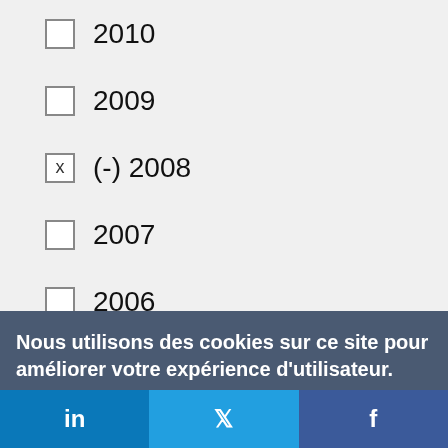2010
2009
(-) 2008
2007
2006
(-) 2005
2004
(-) 2003
Nous utilisons des cookies sur ce site pour améliorer votre expérience d'utilisateur.
En cliquant sur un lien de cette page, vous nous donnez votre consentement de définir des cookies.
Oui, je suis d'accord
Plus d'infos
in  f